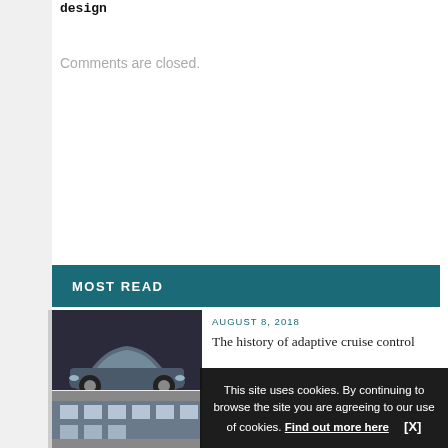design
Comments are closed.
MOST READ
AUGUST 8, 2018
The history of adaptive cruise control
[Figure (photo): Silver/grey luxury sedan car against dark background]
[Figure (photo): Partial image of a building or structure at bottom]
This site uses cookies. By continuing to browse the site you are agreeing to our use of cookies. Find out more here   [X]